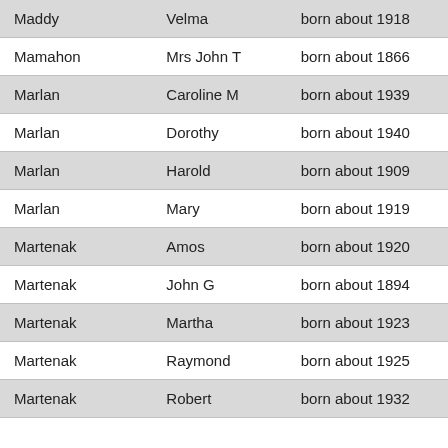| Maddy | Velma | born about 1918 |
| Mamahon | Mrs John T | born about 1866 |
| Marlan | Caroline M | born about 1939 |
| Marlan | Dorothy | born about 1940 |
| Marlan | Harold | born about 1909 |
| Marlan | Mary | born about 1919 |
| Martenak | Amos | born about 1920 |
| Martenak | John G | born about 1894 |
| Martenak | Martha | born about 1923 |
| Martenak | Raymond | born about 1925 |
| Martenak | Robert | born about 1932 |